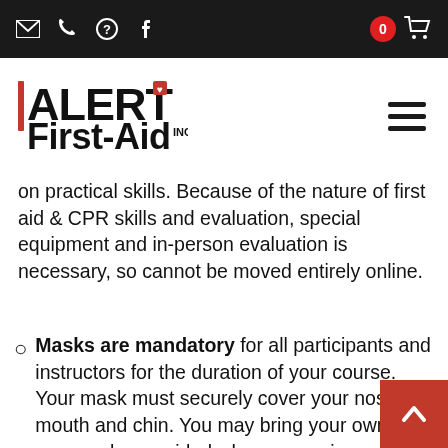Alert First-Aid Inc. website header with navigation icons and cart
[Figure (logo): Alert First-Aid Inc. logo with red shield icon]
on practical skills. Because of the nature of first aid & CPR skills and evaluation, special equipment and in-person evaluation is necessary, so cannot be moved entirely online.
Masks are mandatory for all participants and instructors for the duration of your course. Your mask must securely cover your nose, mouth and chin. You may bring your own, or one can be provided when you arrive.
If you're feeling sick, please stay home. We ask anyone (participants and instructors) with symptoms